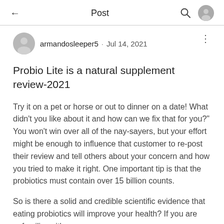← Post 🔍 👤
armandosleeper5 · Jul 14, 2021
Probio Lite is a natural supplement review-2021
Try it on a pet or horse or out to dinner on a date! What didn't you like about it and how can we fix that for you?" You won't win over all of the nay-sayers, but your effort might be enough to influence that customer to re-post their review and tell others about your concern and how you tried to make it right. One important tip is that the probiotics must contain over 15 billion counts.
So is there a solid and credible scientific evidence that eating probiotics will improve your health? If you are unfamiliar with